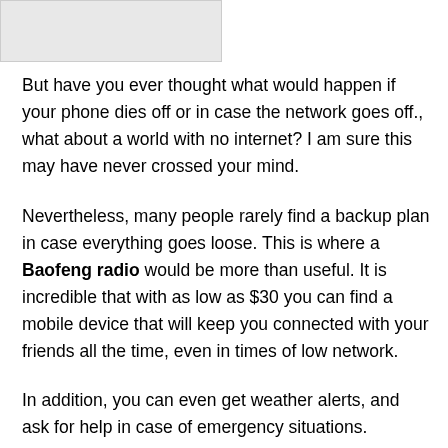[Figure (other): Partially visible grey box at top left, appears to be a truncated table of contents or UI element]
But have you ever thought what would happen if your phone dies off or in case the network goes off., what about a world with no internet? I am sure this may have never crossed your mind.
Nevertheless, many people rarely find a backup plan in case everything goes loose. This is where a Baofeng radio would be more than useful. It is incredible that with as low as $30 you can find a mobile device that will keep you connected with your friends all the time, even in times of low network.
In addition, you can even get weather alerts, and ask for help in case of emergency situations.